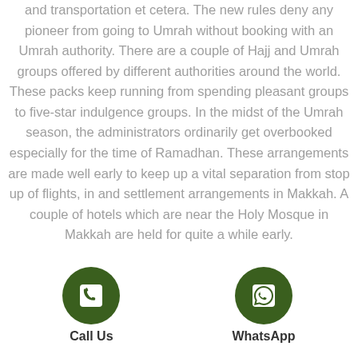and transportation et cetera. The new rules deny any pioneer from going to Umrah without booking with an Umrah authority. There are a couple of Hajj and Umrah groups offered by different authorities around the world. These packs keep running from spending pleasant groups to five-star indulgence groups. In the midst of the Umrah season, the administrators ordinarily get overbooked especially for the time of Ramadhan. These arrangements are made well early to keep up a vital separation from stop up of flights, in and settlement arrangements in Makkah. A couple of hotels which are near the Holy Mosque in Makkah are held for quite a while early.
[Figure (illustration): Phone/call icon in a dark green circle]
Call Us
[Figure (illustration): WhatsApp icon in a dark green circle]
WhatsApp